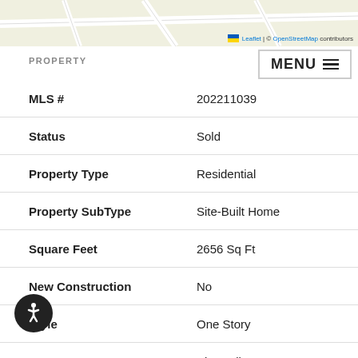[Figure (map): Map screenshot showing street/area map with Leaflet and OpenStreetMap attribution]
MENU ☰
PROPERTY
| Property Field | Value |
| --- | --- |
| MLS # | 202211039 |
| Status | Sold |
| Property Type | Residential |
| Property SubType | Site-Built Home |
| Square Feet | 2656 Sq Ft |
| New Construction | No |
| Style | One Story |
| Type | Site-Built Home |
| Basement | Yes |
| Bedrooms | 3 |
| Bathrooms | 2 (1 Full, 1 Half) |
| Annual Taxes | $1,396.00 |
| Year Taxes Payable | 2022 |
| Year Built | 1970 |
| Virtual Tour | propertypanorama.com » |